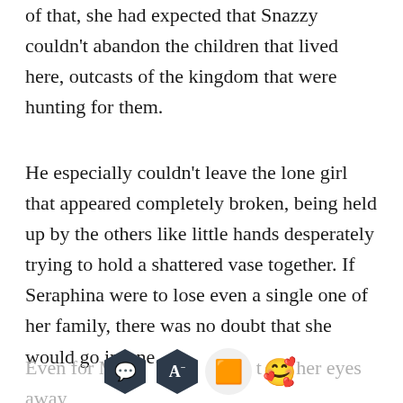of that, she had expected that Snazzy couldn't abandon the children that lived here, outcasts of the kingdom that were hunting for them.
He especially couldn't leave the lone girl that appeared completely broken, being held up by the others like little hands desperately trying to hold a shattered vase together. If Seraphina were to lose even a single one of her family, there was no doubt that she would go insane.
Even for Marik…[obscured]…to [obscured] her eyes away